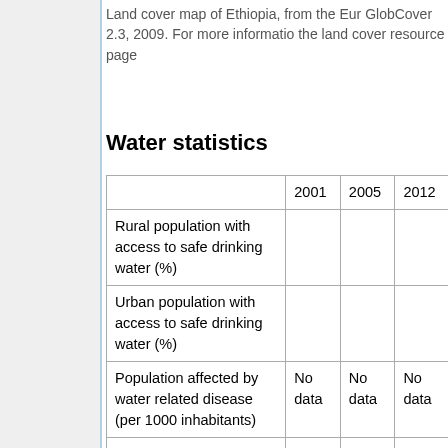Land cover map of Ethiopia, from the ESA GlobCover 2.3, 2009. For more information the land cover resource page
Water statistics
|  | 2001 | 2005 | 2012 |
| --- | --- | --- | --- |
| Rural population with access to safe drinking water (%) |  |  |  |
| Urban population with access to safe drinking water (%) |  |  |  |
| Population affected by water related disease (per 1000 inhabitants) | No data | No data | No data |
| Total internal renewable water resources (cubic metres/inhabitant/year) |  |  |  |